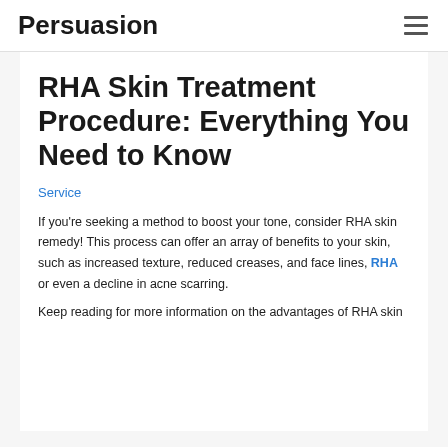Persuasion
RHA Skin Treatment Procedure: Everything You Need to Know
Service
If you're seeking a method to boost your tone, consider RHA skin remedy! This process can offer an array of benefits to your skin, such as increased texture, reduced creases, and face lines, RHA or even a decline in acne scarring.
Keep reading for more information on the advantages of RHA skin